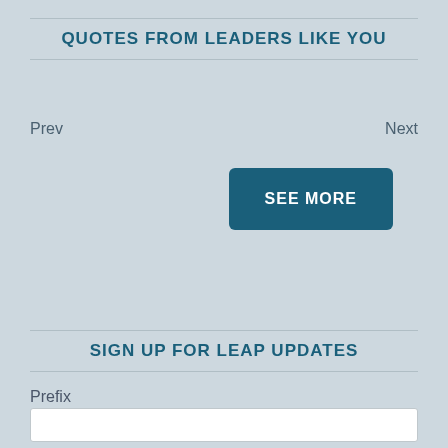QUOTES FROM LEADERS LIKE YOU
Prev
Next
SEE MORE
SIGN UP FOR LEAP UPDATES
Prefix
First Name *